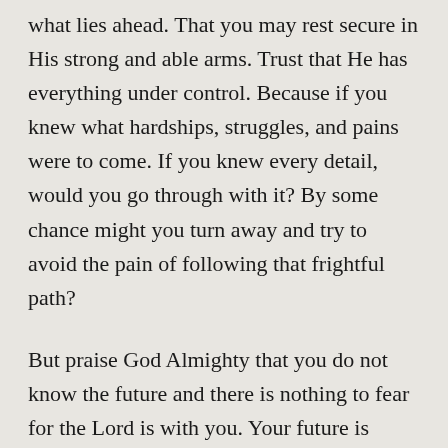what lies ahead. That you may rest secure in His strong and able arms. Trust that He has everything under control. Because if you knew what hardships, struggles, and pains were to come. If you knew every detail, would you go through with it? By some chance might you turn away and try to avoid the pain of following that frightful path?
But praise God Almighty that you do not know the future and there is nothing to fear for the Lord is with you. Your future is secure, and your path is straight and true. This is because His powerful and awesome hands have made it so. Nothing can change what He has declared, nothing catches Him